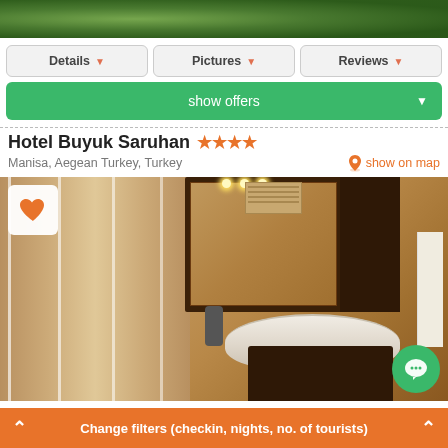[Figure (photo): Top of page showing partial photo with green foliage/trees]
Details ▼
Pictures ▼
Reviews ▼
show offers ▼
Hotel Buyuk Saruhan ★★★★
Manisa, Aegean Turkey, Turkey
show on map
[Figure (photo): Hotel bathroom photo showing shower enclosure with glass panels on left, dark wood mirror cabinet with lights above center, shelving unit on right, white sink/basin at bottom center, towel hanging on right side]
Change filters (checkin, nights, no. of tourists)